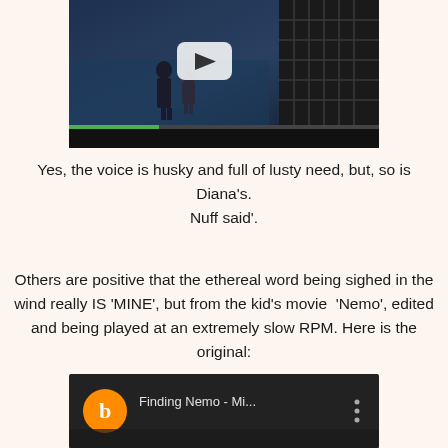[Figure (screenshot): YouTube video thumbnail/player showing a dark cinematic scene with two figures, a play button overlay, a green progress bar, and a black control bar at the bottom.]
Yes, the voice is husky and full of lusty need, but, so is Diana's.
Nuff said'.
Others are positive that the ethereal word being sighed in the wind really IS 'MINE', but from the kid's movie  'Nemo', edited and being played at an extremely slow RPM. Here is the original:
[Figure (screenshot): YouTube video thumbnail showing a Finding Nemo video titled 'Finding Nemo - Mi...' with an orange circle avatar with letter 'b', and a three-dot menu icon.]